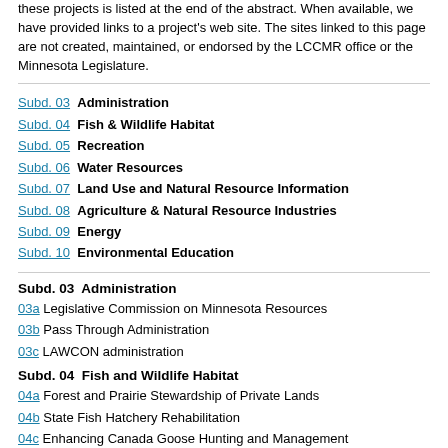these projects is listed at the end of the abstract. When available, we have provided links to a project's web site. The sites linked to this page are not created, maintained, or endorsed by the LCCMR office or the Minnesota Legislature.
Subd. 03  Administration
Subd. 04  Fish & Wildlife Habitat
Subd. 05  Recreation
Subd. 06  Water Resources
Subd. 07  Land Use and Natural Resource Information
Subd. 08  Agriculture & Natural Resource Industries
Subd. 09  Energy
Subd. 10  Environmental Education
Subd. 03  Administration
03a Legislative Commission on Minnesota Resources
03b Pass Through Administration
03c LAWCON administration
Subd. 04  Fish and Wildlife Habitat
04a Forest and Prairie Stewardship of Private Lands
04b State Fish Hatchery Rehabilitation
04c Enhancing Canada Goose Hunting and Management
04d Biological Control of Eurasian Watermilfoil and Purple Loosestrife-Continuation - RESEARCH
04e Restoring Minnesota's Fish and Wildlife Habitat Corridors
04f  Engineering Support for Public Lands Waterfowl Projects
04g Metro Greenways
04h Acquisition of Lands as Scientific and Natural Areas
04i Big Rivers Partnership: Helping Communities to Restore Habitat